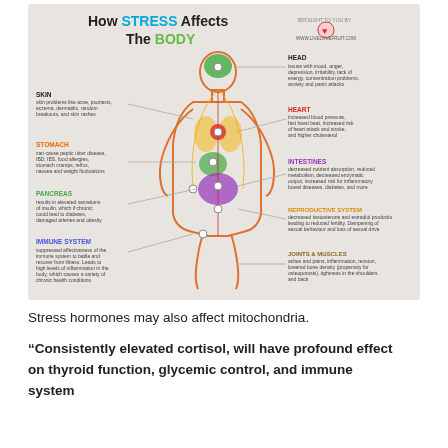[Figure (infographic): Infographic titled 'How STRESS Affects The BODY' showing a human body outline with labeled arrows pointing to different body systems: HEAD (mood, anger, depression, irritability, lack of energy, concentration problems, anxiety and panic attacks), SKIN (skin problems like acne, psoriasis, eczema, dermatitis, random breakouts, and skin rashes), HEART (increased blood pressure, fast heart beat, increased risk of heart attack and stroke, and higher cholesterol), STOMACH (can cause peptic ulcer disease, IBD, IBS, food allergies, stomach cramps, reflux, nausea and weight fluctuations), INTESTINES (decreased nutrient absorption, reduced metabolism, decreased enzymatic output, increased risk for inflammatory bowel diseases, diabetes, and more), PANCREAS (results in elevated secretions of insulin, which if chronic could lead to diabetes, damaged arteries and obesity), REPRODUCTIVE SYSTEM (decreased testosterone and estradiol production leading to reduced fertility. Dampening of sexual behaviour and loss of sexual drive), IMMUNE SYSTEM (suppressed effectiveness of the immune system to battle and recover from illness. Leads to high levels of inflammation in the body, which causes a variety of chronic health conditions), JOINTS & MUSCLES (aches and pains, inflammation, tension, lowered bone density (propensity for osteoporosis), tightness in the shoulders and back). Brought to you by www.livelovefruit.com with a heart logo.]
Stress hormones may also affect mitochondria.
“Consistently elevated cortisol, will have profound effect on thyroid function, glycemic control, and immune system